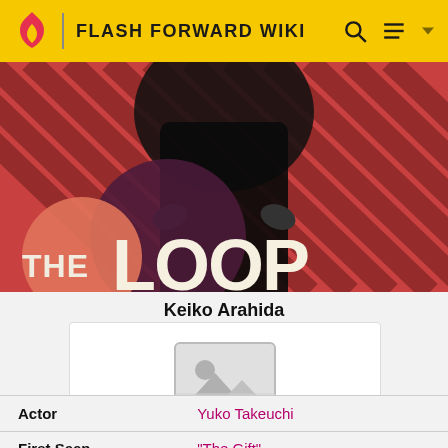FLASH FORWARD WIKI
[Figure (illustration): The Loop TV show banner with stylized text and hooded figure on red/pink striped background]
Keiko Arahida
[Figure (photo): Placeholder image icon (no photo available)]
| Field | Value |
| --- | --- |
| Actor | Yuko Takeuchi |
| First Seen | "The Gift" |